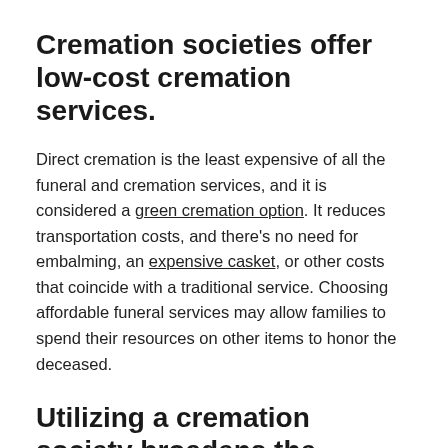Cremation societies offer low-cost cremation services.
Direct cremation is the least expensive of all the funeral and cremation services, and it is considered a green cremation option. It reduces transportation costs, and there’s no need for embalming, an expensive casket, or other costs that coincide with a traditional service. Choosing affordable funeral services may allow families to spend their resources on other items to honor the deceased.
Utilizing a cremation society broadens the service options.